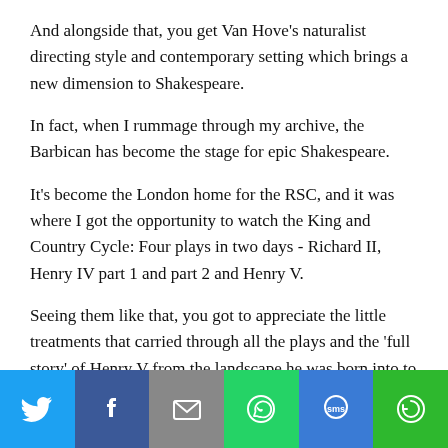And alongside that, you get Van Hove's naturalist directing style and contemporary setting which brings a new dimension to Shakespeare.
In fact, when I rummage through my archive, the Barbican has become the stage for epic Shakespeare.
It's become the London home for the RSC, and it was where I got the opportunity to watch the King and Country Cycle: Four plays in two days - Richard II, Henry IV part 1 and part 2 and Henry V.
Seeing them like that, you got to appreciate the little treatments that carried through all the plays and the 'full story' of Henry V from the landscape he was born into to his most famous victory.
[Figure (infographic): Social sharing bar with icons for Twitter, Facebook, Email, WhatsApp, SMS, and More (circular arrow)]